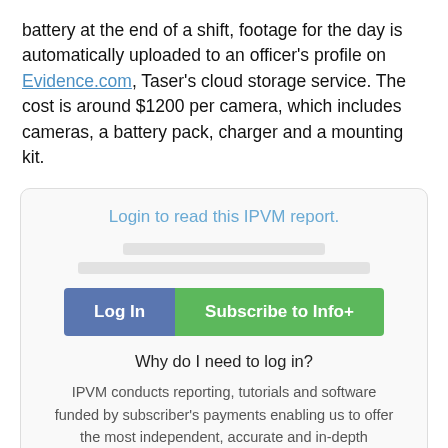battery at the end of a shift, footage for the day is automatically uploaded to an officer's profile on Evidence.com, Taser's cloud storage service. The cost is around $1200 per camera, which includes cameras, a battery pack, charger and a mounting kit.
Login to read this IPVM report.
Log In | Subscribe to Info+
Why do I need to log in?
IPVM conducts reporting, tutorials and software funded by subscriber's payments enabling us to offer the most independent, accurate and in-depth information.